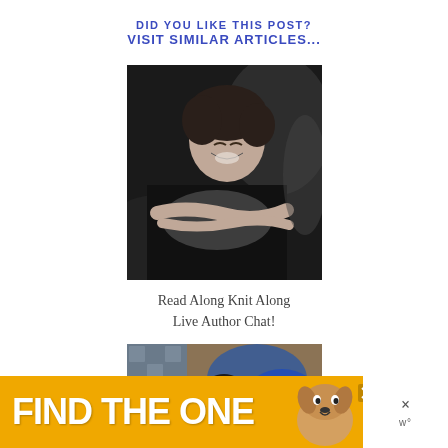DID YOU LIKE THIS POST? VISIT SIMILAR ARTICLES...
[Figure (photo): Black and white photo of a person in dark clothing sitting and laughing, arms crossed]
Read Along Knit Along Live Author Chat!
[Figure (photo): Color photo of a person holding up a blue lace knitted shawl in front of a graffiti wall]
[Figure (infographic): Yellow advertisement banner reading FIND THE ONE with a dog image and close buttons]